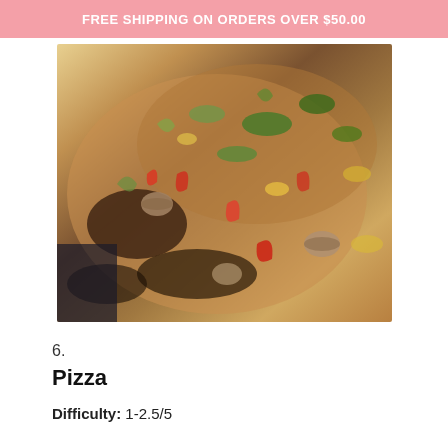FREE SHIPPING ON ORDERS OVER $50.00
[Figure (photo): Close-up photograph of sliced veggie pizza with colorful toppings including mushrooms, red peppers, greens, and cheese on a wooden board.]
6.
Pizza
Difficulty: 1-2.5/5